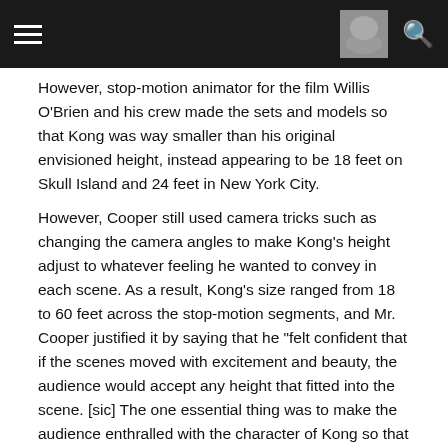Navigation header bar with hamburger menu, thumbnail image, and search icon
However, stop-motion animator for the film Willis O'Brien and his crew made the sets and models so that Kong was way smaller than his original envisioned height, instead appearing to be 18 feet on Skull Island and 24 feet in New York City.
However, Cooper still used camera tricks such as changing the camera angles to make Kong's height adjust to whatever feeling he wanted to convey in each scene. As a result, Kong's size ranged from 18 to 60 feet across the stop-motion segments, and Mr. Cooper justified it by saying that he "felt confident that if the scenes moved with excitement and beauty, the audience would accept any height that fitted into the scene. [sic] The one essential thing was to make the audience enthralled with the character of Kong so that they wouldn't notice or care that he was eighteen feet high or forty feet, just as long as he fitted the mystery and excitement of the scenes and action."
In addition, the giant Kong head used in the movie is on scale with a 40 foot Kong, and the giant hand was on the scale of a 70 foot Kong, meaning that across the original film, the giant ape's height fluctuates from smaller than the Peter Jackson Kong to a bit taller than the 1967 "King Kong Escapes" incarnation, all the while his official given height is 50 feet.